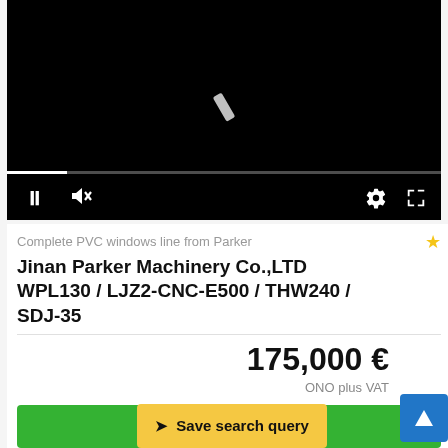[Figure (screenshot): Video player showing a black screen with a loading spinner, progress bar, and playback controls (pause, mute, gear/settings, fullscreen).]
Complete PVC windows line from Parker
Jinan Parker Machinery Co.,LTD WPL130 / LJZ2-CNC-E500 / THW240 / SDJ-35
175,000 €
ONO plus VAT
✉ Send inquiry
⬆ Save search query